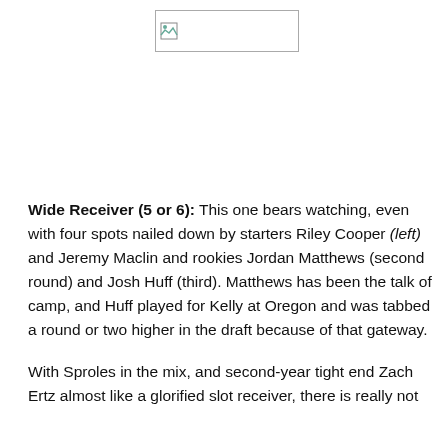[Figure (photo): Broken image placeholder box, top-center of page]
Wide Receiver (5 or 6): This one bears watching, even with four spots nailed down by starters Riley Cooper (left) and Jeremy Maclin and rookies Jordan Matthews (second round) and Josh Huff (third). Matthews has been the talk of camp, and Huff played for Kelly at Oregon and was tabbed a round or two higher in the draft because of that gateway.
With Sproles in the mix, and second-year tight end Zach Ertz almost like a glorified slot receiver, there is really not